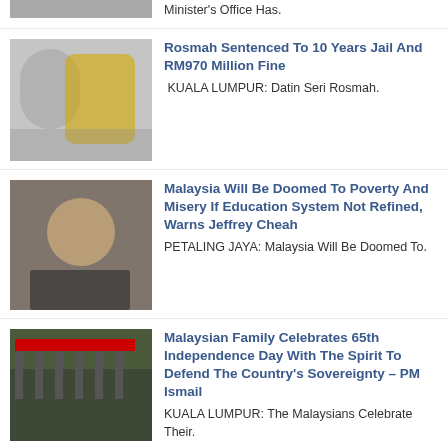[Figure (photo): Partial photo visible at top of page, cropped]
Minister's Office Has.
[Figure (photo): Photo of two people, one in yellow headscarf]
Rosmah Sentenced To 10 Years Jail And RM970 Million Fine
KUALA LUMPUR: Datin Seri Rosmah.
[Figure (photo): Photo of a man smiling in a suit]
Malaysia Will Be Doomed To Poverty And Misery If Education System Not Refined, Warns Jeffrey Cheah
PETALING JAYA: Malaysia Will Be Doomed To.
[Figure (photo): Photo of people holding Malaysian flags]
Malaysian Family Celebrates 65th Independence Day With The Spirit To Defend The Country's Sovereignty – PM Ismail
KUALA LUMPUR: The Malaysians Celebrate Their.
[Figure (photo): Partial photo at bottom of page]
Inflation Rate Increased To